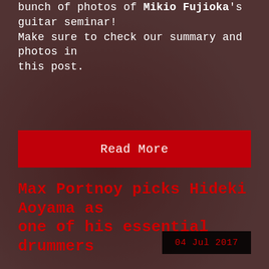bunch of photos of Mikio Fujioka's guitar seminar! Make sure to check our summary and photos in this post.
Read More
Max Portnoy picks Hideki Aoyama as one of his essential drummers
04 Jul 2017
Max Portnoy son of the popular drummer Mike Portnoy was interviewed by Music Radar to talk about his essential drummers. Max Portnoy included Kami Band God Of Drums Hideki Aoyama in his essential drummer's list. Read below.